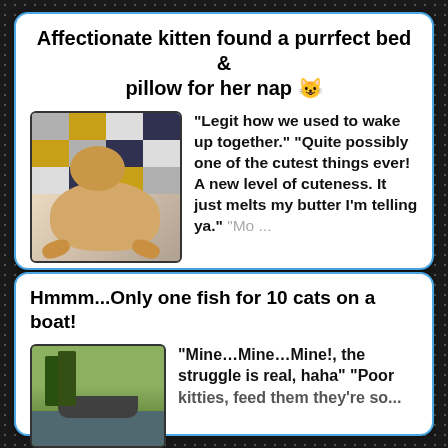Affectionate kitten found a purrfect bed & pillow for her nap 😺
[Figure (photo): A cat sleeping on its back on a colorful geometric quilt/blanket with yellow, gray, white and dark blue triangle patterns]
"Legit how we used to wake up together." "Quite possibly one of the cutest things ever! A new level of cuteness. It just melts my butter I'm telling ya." "Mo ...
Full Image ▶
Hmmm...Only one fish for 10 cats on a boat!
[Figure (photo): A boat on a river or lake with green vegetation in the background]
"Mine…Mine…Mine!, the struggle is real, haha" "Poor kitties, feed them they're so...